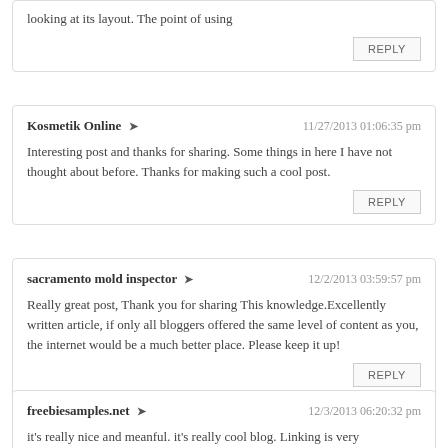looking at its layout. The point of using
REPLY
Kosmetik Online ➜  11/27/2013 01:06:35 pm
Interesting post and thanks for sharing. Some things in here I have not thought about before. Thanks for making such a cool post.
REPLY
sacramento mold inspector ➜  12/2/2013 03:59:57 pm
Really great post, Thank you for sharing This knowledge.Excellently written article, if only all bloggers offered the same level of content as you, the internet would be a much better place. Please keep it up!
REPLY
freebiesamples.net ➜  12/3/2013 06:20:32 pm
it's really nice and meanful. it's really cool blog. Linking is very